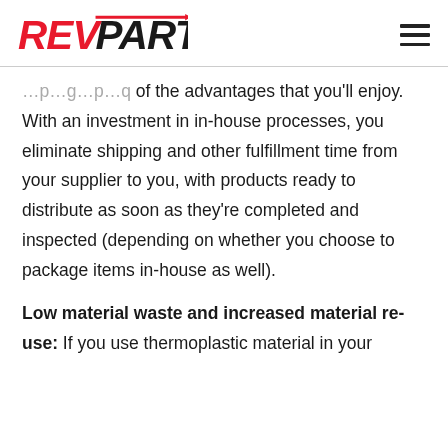REVPART [logo with hamburger menu]
of the advantages that you'll enjoy. With an investment in in-house processes, you eliminate shipping and other fulfillment time from your supplier to you, with products ready to distribute as soon as they're completed and inspected (depending on whether you choose to package items in-house as well).
Low material waste and increased material re-use: If you use thermoplastic material in your